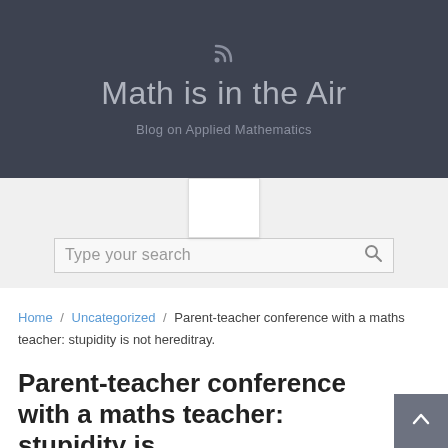Math is in the Air — Blog on Applied Mathematics
[Figure (screenshot): Search bar area with 'Type your search' placeholder and search icon]
Home / Uncategorized / Parent-teacher conference with a maths teacher: stupidity is not hereditray.
Parent-teacher conference with a maths teacher: stupidity is